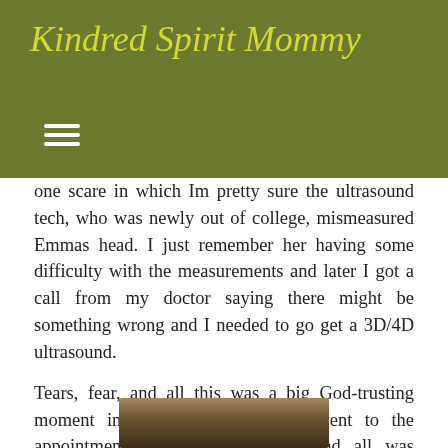Kindred Spirit Mommy
one scare in which Im pretty sure the ultrasound tech, who was newly out of college, mismeasured Emmas head. I just remember her having some difficulty with the measurements and later I got a call from my doctor saying there might be something wrong and I needed to go get a 3D/4D ultrasound.
Tears, fear, and all this was a big God-trusting moment in my life for me. We went to the appointment, got our ultrasound, and all was normal. Now I dont know if there had been something wrong and my baby was healed (which I completely believe could have happened) or if it really was a mismeasurement I was just relieved Emma was fine.
And it was cool that I got a 3D ultrasound picture out of it. 🙂
[Figure (photo): 3D ultrasound image, partial view at bottom of page]